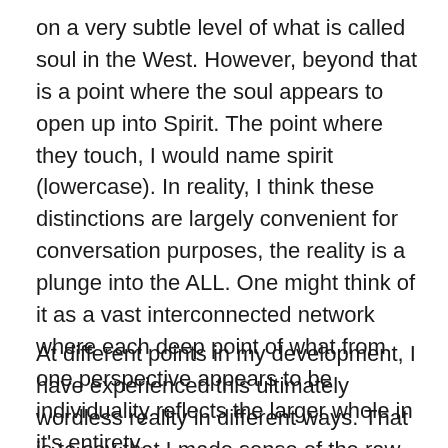on a very subtle level of what is called soul in the West. However, beyond that is a point where the soul appears to open up into Spirit. The point where they touch, I would name spirit (lowercase). In reality, I think these distinctions are largely convenient for conversation purposes, the reality is a plunge into the ALL. One might think of it as a vast interconnected network where each deep point of what from one perspective appears to be individuality reflects the larger whole in it's entirety.
At different points in my development, I have experienced this ultimately wordless reality in different ways. That is to say that I made sense of the raw experience differently or overlaid it with a somewhat different interpretation. Two popular and somewhat different ways to look at it are